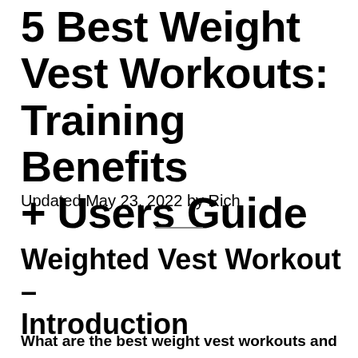5 Best Weight Vest Workouts: Training Benefits + Users Guide
Updated May 23, 2022 by Rich
Weighted Vest Workout – Introduction
What are the best weight vest workouts and